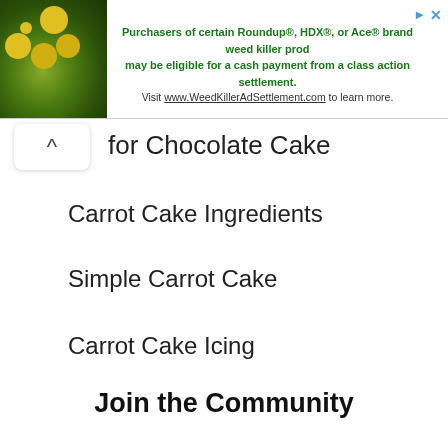[Figure (screenshot): Advertisement banner: plant/flower photo on left, text about Roundup/HDX/Ace weed killer class action settlement on right]
for Chocolate Cake
Carrot Cake Ingredients
Simple Carrot Cake
Carrot Cake Icing
Join the Community
Subscribe to our newsletter and learn something new every day.
Name
Email Address